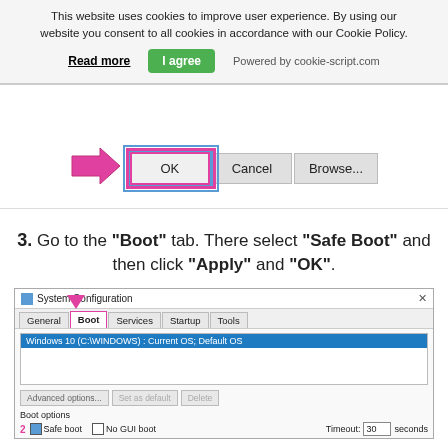This website uses cookies to improve user experience. By using our website you consent to all cookies in accordance with our Cookie Policy.
Read more  I agree  Powered by cookie-script.com
[Figure (screenshot): Dialog box with OK button highlighted by pink arrow and pink/blue border, Cancel and Browse... buttons]
3. Go to the "Boot" tab. There select "Safe Boot" and then click "Apply" and "OK".
[Figure (screenshot): System Configuration dialog showing Boot tab selected with pink border, Windows 10 OS in list, Boot options section with Safe Boot checked (marked 2), Timeout 30 seconds]